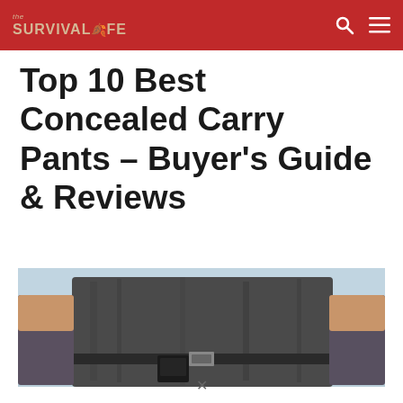the SURVIVAL LIFE
Top 10 Best Concealed Carry Pants – Buyer's Guide & Reviews
[Figure (photo): Person wearing dark concealed carry clothing, showing waistband area with a concealed firearm or holster visible at belt level. Sky visible in background.]